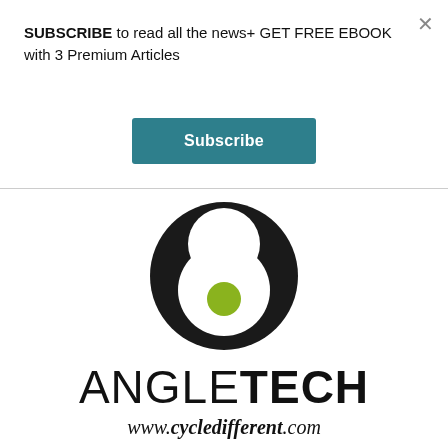SUBSCRIBE to read all the news+ GET FREE EBOOK with 3 Premium Articles
[Figure (logo): AngleTech logo: large black crescent/circle shape with a white inner circle and a yellow-green dot in the center, above the text ANGLETECH and www.cycledifferent.com]